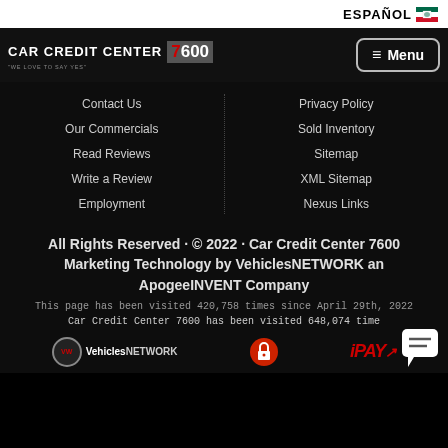ESPAÑOL 🇲🇽
[Figure (logo): Car Credit Center 7600 logo with menu button]
Contact Us
Our Commercials
Read Reviews
Write a Review
Employment
Privacy Policy
Sold Inventory
Sitemap
XML Sitemap
Nexus Links
All Rights Reserved · © 2022 · Car Credit Center 7600 Marketing Technology by VehiclesNETWORK an ApogeeINVENT Company
This page has been visited 420,758 times since April 29th, 2022
Car Credit Center 7600 has been visited 648,074 time
[Figure (logo): VehiclesNETWORK logo, lock icon, iPay logo, and chat bubble icon at bottom]